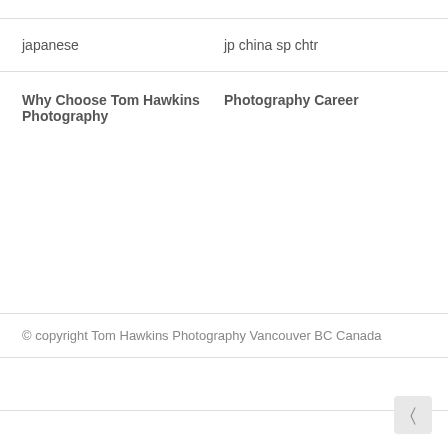japanese | jp china sp chtr
Why Choose Tom Hawkins Photography | Photography Career
© copyright Tom Hawkins Photography Vancouver BC Canada